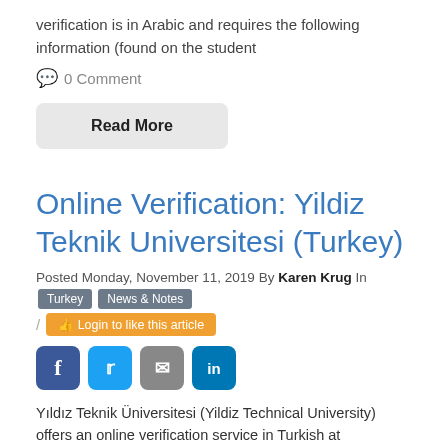verification is in Arabic and requires the following information (found on the student
0 Comment
Read More
Online Verification: Yildiz Teknik Universitesi (Turkey)
Posted Monday, November 11, 2019 By Karen Krug In Turkey News & Notes / Login to like this article
[Figure (infographic): Social share buttons: Facebook (blue), Twitter (light blue), Email (grey), LinkedIn (dark blue)]
Yıldız Teknik Üniversitesi (Yildiz Technical University) offers an online verification service in Turkish at https://mezuniyetbilgisi.yildiz.edu.tr/. Enter the T.C. Kimlik No (Turkish ID Number) from the back of the diploma or from the transcript, as wel